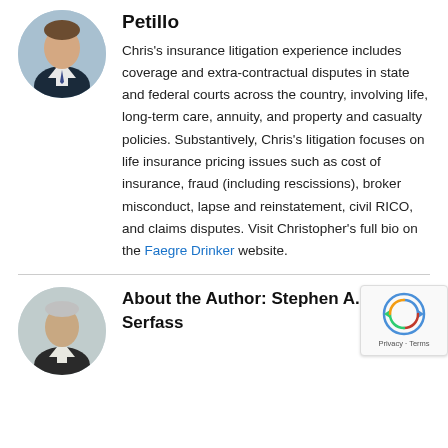[Figure (photo): Headshot of a young man in a dark suit with a tie, against a light blue background]
Petillo
Chris's insurance litigation experience includes coverage and extra-contractual disputes in state and federal courts across the country, involving life, long-term care, annuity, and property and casualty policies. Substantively, Chris's litigation focuses on life insurance pricing issues such as cost of insurance, fraud (including rescissions), broker misconduct, lapse and reinstatement, civil RICO, and claims disputes. Visit Christopher's full bio on the Faegre Drinker website.
[Figure (photo): Headshot of an older man in a suit, against a light background]
About the Author: Stephen A. Serfass